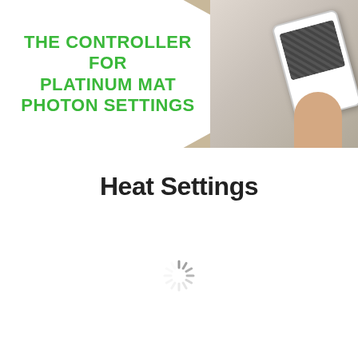[Figure (photo): Banner image showing a device/controller being held, with bold green text overlay reading 'THE CONTROLLER FOR PLATINUM MAT PHOTON SETTINGS' on a white hexagonal background area]
Heat Settings
[Figure (other): Loading spinner icon (circular dashed/spoked spinner in gray)]